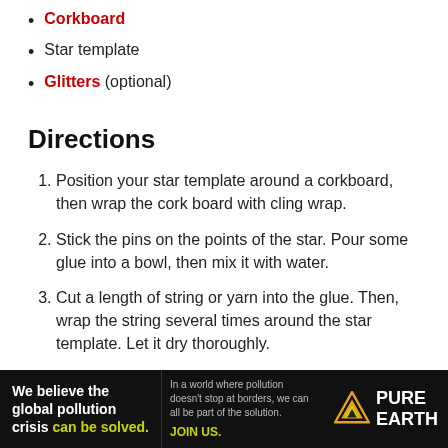Corkboard
Star template
Glitters (optional)
Directions
1. Position your star template around a corkboard, then wrap the cork board with cling wrap.
2. Stick the pins on the points of the star. Pour some glue into a bowl, then mix it with water.
3. Cut a length of string or yarn into the glue. Then, wrap the string several times around the star template. Let it dry thoroughly.
4. Cut a long length of string, and dip it into the glue. Wrap the string around the string star until you use up all the
[Figure (infographic): Pure Earth advertisement banner: 'We believe the global pollution crisis can be solved.' with tagline about global pollution and JOIN US call to action, Pure Earth logo.]